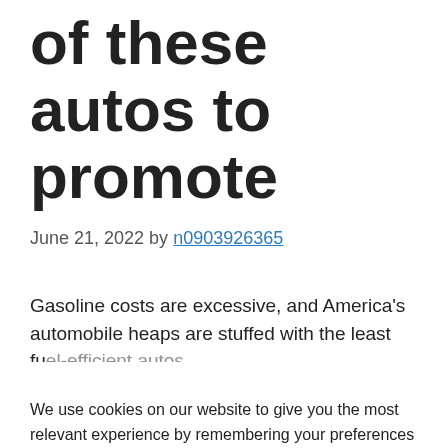of these autos to promote
June 21, 2022 by n0903926365
Gasoline costs are excessive, and America's automobile heaps are stuffed with the least fuel-efficient autos
We use cookies on our website to give you the most relevant experience by remembering your preferences and repeat visits. By clicking “Accept All”, you consent to the use of ALL the cookies. However, you may visit "Cookie Settings" to provide a controlled consent.